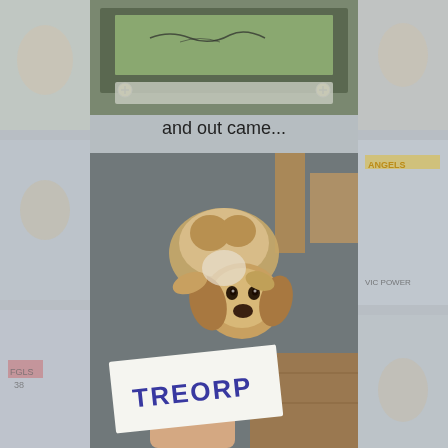[Figure (photo): Collage background of faded vintage baseball cards with players in various poses, including Angels and other team cards visible]
[Figure (photo): Top photo showing a framed autographed baseball card in a plastic case with screws, sitting on a wooden surface surrounded by other baseball cards]
and out came...
[Figure (photo): Photo of a small fluffy brown and white Shih Tzu or Pekingese dog lying on a gray carpet, looking up at the camera. A hand is holding up a small white slip of paper with the handwritten name 'TREORP' written in blue ink in the foreground.]